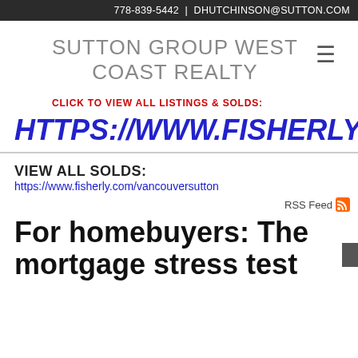778-839-5442 | DHUTCHINSON@SUTTON.COM
SUTTON GROUP WEST COAST REALTY
CLICK TO VIEW ALL LISTINGS & SOLDS:
HTTPS://WWW.FISHERLY.COM/
VIEW ALL SOLDS:
https://www.fisherly.com/vancouversutton
RSS Feed
For homebuyers: The mortgage stress test